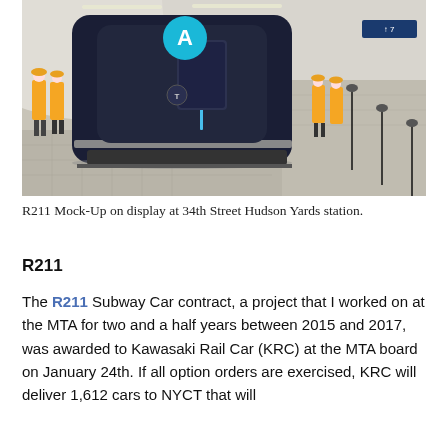[Figure (photo): R211 subway car mock-up displayed at 34th Street Hudson Yards station interior. A modern dark blue/silver train car with a large cyan circle with letter 'A' is shown at the platform. MTA workers in orange vests are visible on both sides of the platform. The station has a curved white tiled ceiling.]
R211 Mock-Up on display at 34th Street Hudson Yards station.
R211
The R211 Subway Car contract, a project that I worked on at the MTA for two and a half years between 2015 and 2017, was awarded to Kawasaki Rail Car (KRC) at the MTA board on January 24th. If all option orders are exercised, KRC will deliver 1,612 cars to NYCT that will